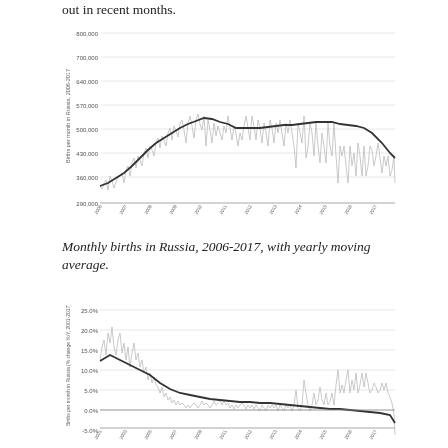out in recent months.
[Figure (line-chart): Line chart showing monthly births in Russia 2006-2017 with a yearly moving average. Monthly values shown as light gray spiky line, moving average as darker bold line. Values range roughly from 100,000 to 200,000+, with a peak around 2014-2015 near 550,000 and decline thereafter.]
Monthly births in Russia, 2006-2017, with yearly moving average.
[Figure (line-chart): Line chart showing year-over-year percentage change in monthly births in Russia 2001-2017. Light gray spiky line shows monthly values ranging from about -5% to +25%, with darker moving average line. The moving average shows a decline from about 10% in early years to near 0% and negative by 2017.]